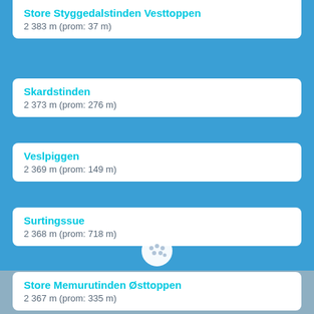Store Styggedalstinden Vesttoppen
2 383 m (prom: 37 m)
Skardstinden
2 373 m (prom: 276 m)
Veslpiggen
2 369 m (prom: 149 m)
Surtingssue
2 368 m (prom: 718 m)
Store Memurutinden Østtoppen
2 367 m (prom: 335 m)